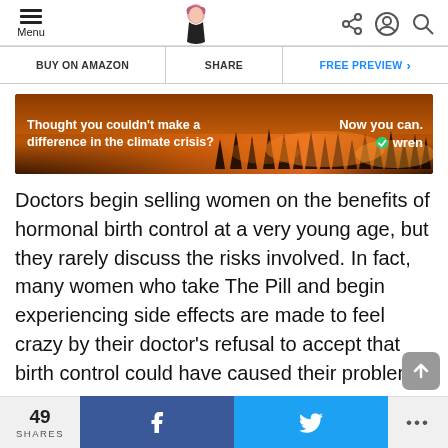Menu | [logo] | share | account | search
BUY ON AMAZON | SHARE | FREE PREVIEW >
[Figure (photo): Advertisement banner with wildfire/forest fire background. Text: 'Thought you couldn't make a difference in the climate crisis?' on the left and 'Now you can. wren' on the right.]
Doctors begin selling women on the benefits of hormonal birth control at a very young age, but they rarely discuss the risks involved. In fact, many women who take The Pill and begin experiencing side effects are made to feel crazy by their doctor's refusal to accept that birth control could have caused their problems.
49 SHARES | f | [Twitter bird] | ...